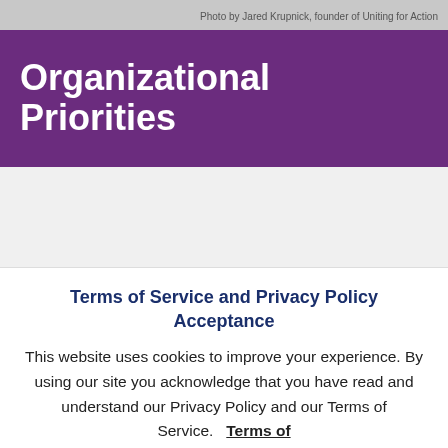Photo by Jared Krupnick, founder of Uniting for Action
Organizational Priorities
Terms of Service and Privacy Policy Acceptance
This website uses cookies to improve your experience. By using our site you acknowledge that you have read and understand our Privacy Policy and our Terms of Service.  Terms of Service   ACCEPT